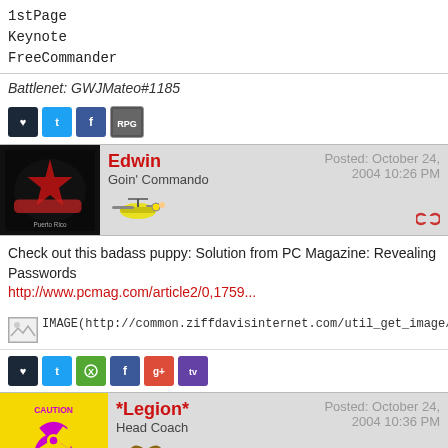1stPage
Keynote
FreeCommander
Battlenet: GWJMateo#1185
[Figure (infographic): Social media icons: Steam, Twitter, Facebook, GOG]
[Figure (infographic): Forum post header: user Edwin, Goin' Commando, helicopter badge, Posted: October 24, 2004 10:26 PM]
Check out this badass puppy: Solution from PC Magazine: Revealing Passwords
http://www.pcmag.com/article2/0,1759...
IMAGE(http://common.ziffdavisinternet.com/util_get_image/8/0,1311,sz=1&i=81...
[Figure (infographic): Social media icons: Steam, Twitter, Xbox, Facebook, Google+, Twitch]
[Figure (infographic): Forum post header: user *Legion*, Head Coach, infinity symbol badge, Posted: October 24, 2004 10:36 PM]